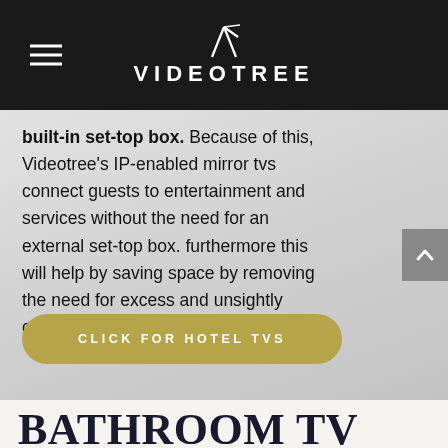VIDEOTREE
built-in set-top box. Because of this, Videotree's IP-enabled mirror tvs connect guests to entertainment and services without the need for an external set-top box. furthermore this will help by saving space by removing the need for excess and unsightly cables and power supplies.
CLICK FOR HOTEL TVS
BATHROOM TV CASE STUDIES